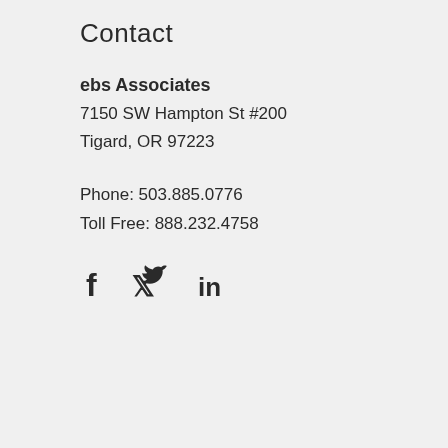Contact
ebs Associates
7150 SW Hampton St #200
Tigard, OR 97223
Phone: 503.885.0776
Toll Free: 888.232.4758
[Figure (infographic): Social media icons: Facebook (f), Twitter (bird), LinkedIn (in)]